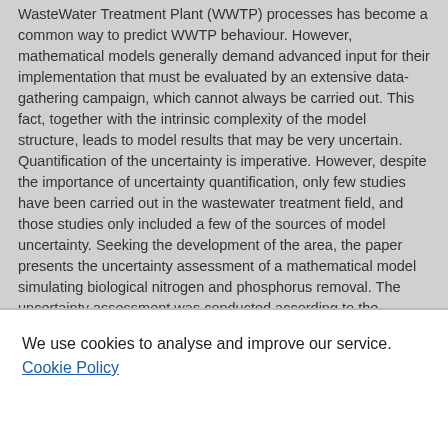WasteWater Treatment Plant (WWTP) processes has become a common way to predict WWTP behaviour. However, mathematical models generally demand advanced input for their implementation that must be evaluated by an extensive data-gathering campaign, which cannot always be carried out. This fact, together with the intrinsic complexity of the model structure, leads to model results that may be very uncertain. Quantification of the uncertainty is imperative. However, despite the importance of uncertainty quantification, only few studies have been carried out in the wastewater treatment field, and those studies only included a few of the sources of model uncertainty. Seeking the development of the area, the paper presents the uncertainty assessment of a mathematical model simulating biological nitrogen and phosphorus removal. The uncertainty assessment was conducted according to the Generalised Likelihood Uncertainty Estimation (GLUE) methodology that has been scarcely applied in wastewater field. The model was characterised by between model 2 (ASM) and 2
We use cookies to analyse and improve our service. Cookie Policy